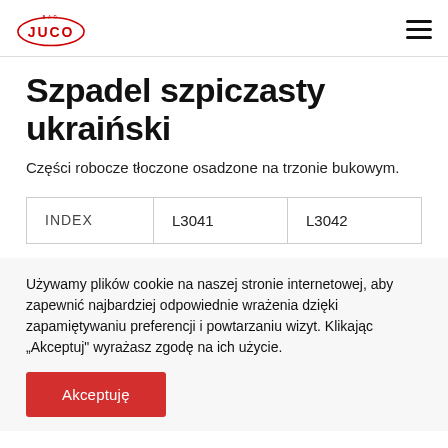JUCO (logo) | hamburger menu
Szpadel szpiczasty ukraiński
Części robocze tłoczone osadzone na trzonie bukowym.
| INDEX | L3041 | L3042 |
| --- | --- | --- |
Używamy plików cookie na naszej stronie internetowej, aby zapewnić najbardziej odpowiednie wrażenia dzięki zapamiętywaniu preferencji i powtarzaniu wizyt. Klikając „Akceptuj" wyrażasz zgodę na ich użycie.
Akceptuję